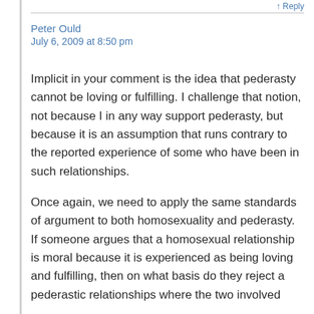↑ Reply
Peter Ould
July 6, 2009 at 8:50 pm
Implicit in your comment is the idea that pederasty cannot be loving or fulfilling. I challenge that notion, not because I in any way support pederasty, but because it is an assumption that runs contrary to the reported experience of some who have been in such relationships.
Once again, we need to apply the same standards of argument to both homosexuality and pederasty. If someone argues that a homosexual relationship is moral because it is experienced as being loving and fulfilling, then on what basis do they reject a pederastic relationships where the two involved